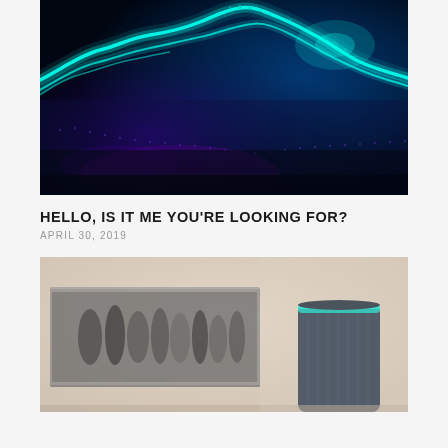[Figure (photo): Abstract digital wave visualization with cyan and purple glowing particle waves on a dark blue/black background, forming undulating mountain-like shapes]
HELLO, IS IT ME YOU'RE LOOKING FOR?
APRIL 30, 2019
[Figure (photo): A smart speaker device (similar to Amazon Echo) with dark blue fabric exterior and teal ring light on top, placed on a surface with a blurred black-and-white artwork/photograph in the background]